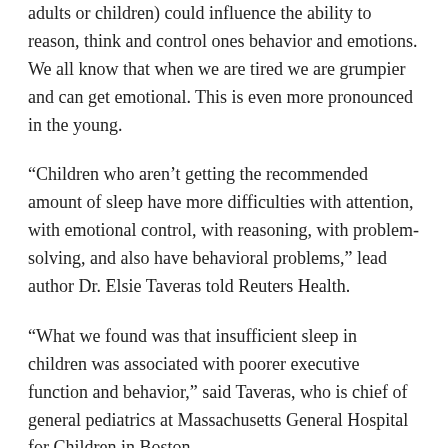adults or children) could influence the ability to reason, think and control ones behavior and emotions. We all know that when we are tired we are grumpier and can get emotional. This is even more pronounced in the young.
“Children who aren’t getting the recommended amount of sleep have more difficulties with attention, with emotional control, with reasoning, with problem-solving, and also have behavioral problems,” lead author Dr. Elsie Taveras told Reuters Health.
“What we found was that insufficient sleep in children was associated with poorer executive function and behavior,” said Taveras, who is chief of general pediatrics at Massachusetts General Hospital for Children in Boston.